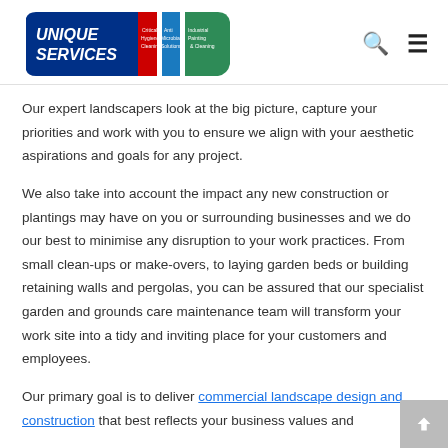[Figure (logo): Unique Services logo with colored ribbon sections: Critical Hygiene Cleaning (red), Anti Microbial Solutions (blue), Industrial Painting & Cleaning (green)]
Our expert landscapers look at the big picture, capture your priorities and work with you to ensure we align with your aesthetic aspirations and goals for any project.
We also take into account the impact any new construction or plantings may have on you or surrounding businesses and we do our best to minimise any disruption to your work practices. From small clean-ups or make-overs, to laying garden beds or building retaining walls and pergolas, you can be assured that our specialist garden and grounds care maintenance team will transform your work site into a tidy and inviting place for your customers and employees.
Our primary goal is to deliver commercial landscape design and construction that best reflects your business values and